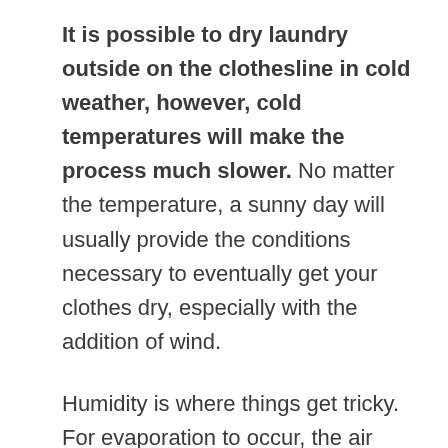It is possible to dry laundry outside on the clothesline in cold weather, however, cold temperatures will make the process much slower. No matter the temperature, a sunny day will usually provide the conditions necessary to eventually get your clothes dry, especially with the addition of wind.
Humidity is where things get tricky. For evaporation to occur, the air around your clothes needs to be drier than your clothes themselves; the dryer the air, the faster evaporation will occur. Unfortunately, British winters are typically damp and rainy,